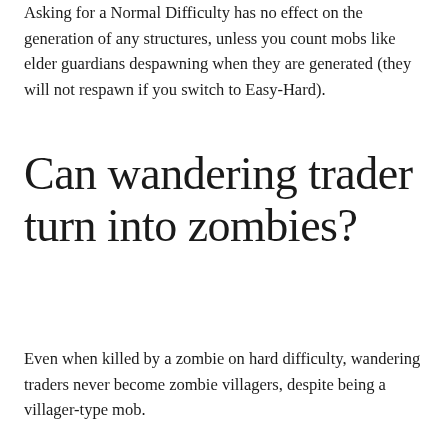Asking for a Normal Difficulty has no effect on the generation of any structures, unless you count mobs like elder guardians despawning when they are generated (they will not respawn if you switch to Easy-Hard).
Can wandering trader turn into zombies?
Even when killed by a zombie on hard difficulty, wandering traders never become zombie villagers, despite being a villager-type mob.